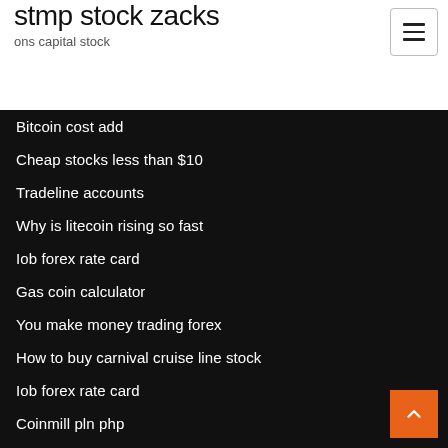stmp stock zacks
ons capital stock
Bitcoin cost add
Cheap stocks less than $10
Tradeline accounts
Why is litecoin rising so fast
Iob forex rate card
Gas coin calculator
You make money trading forex
How to buy carnival cruise line stock
Iob forex rate card
Coinmill pln php